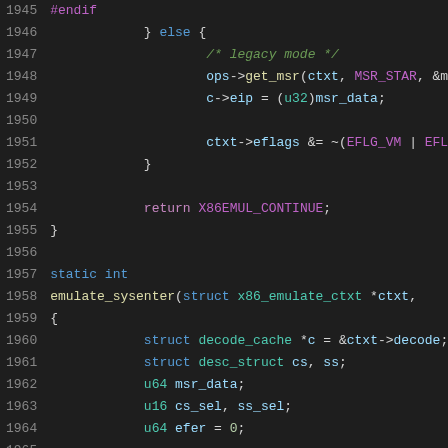Source code snippet, lines 1945-1965, C programming language code for x86 emulator
[Figure (screenshot): C source code with syntax highlighting showing lines 1945-1965 of an x86 emulator implementation, including #endif, else block with legacy mode comment, ops->get_msr call, c->eip assignment, ctxt->eflags operation, return X86EMUL_CONTINUE, closing brace, static int declaration, emulate_sysenter function definition, and local variable declarations]